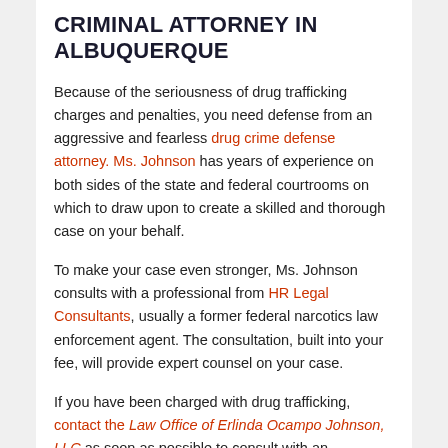CRIMINAL ATTORNEY IN ALBUQUERQUE
Because of the seriousness of drug trafficking charges and penalties, you need defense from an aggressive and fearless drug crime defense attorney. Ms. Johnson has years of experience on both sides of the state and federal courtrooms on which to draw upon to create a skilled and thorough case on your behalf.
To make your case even stronger, Ms. Johnson consults with a professional from HR Legal Consultants, usually a former federal narcotics law enforcement agent. The consultation, built into your fee, will provide expert counsel on your case.
If you have been charged with drug trafficking, contact the Law Office of Erlinda Ocampo Johnson, LLC as soon as possible to consult with an